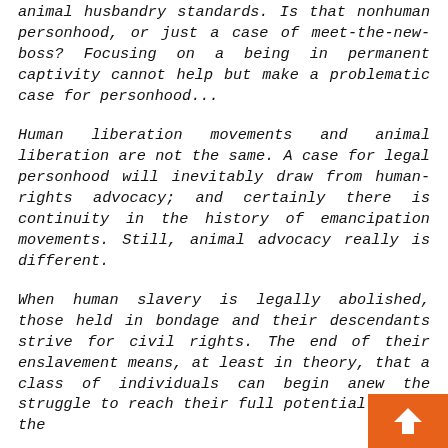animal husbandry standards. Is that nonhuman personhood, or just a case of meet-the-new-boss? Focusing on a being in permanent captivity cannot help but make a problematic case for personhood...
Human liberation movements and animal liberation are not the same. A case for legal personhood will inevitably draw from human-rights advocacy; and certainly there is continuity in the history of emancipation movements. Still, animal advocacy really is different.
When human slavery is legally abolished, those held in bondage and their descendants strive for civil rights. The end of their enslavement means, at least in theory, that a class of individuals can begin anew the struggle to reach their full potential within the